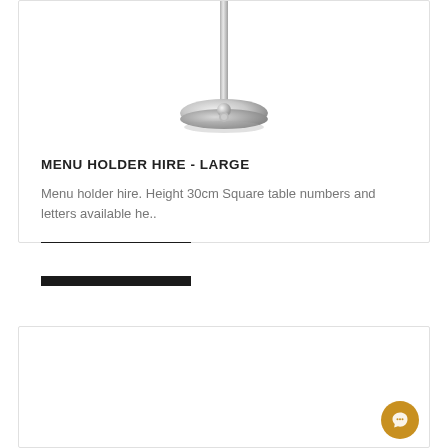[Figure (photo): A silver/chrome menu holder with a tall thin pole and a round weighted base, partially cropped at the top.]
MENU HOLDER HIRE - LARGE
Menu holder hire. Height 30cm Square table numbers and letters available he..
VIEW PRICE
[Figure (photo): Bottom card area, mostly empty white space with a chat widget bubble in the lower right corner.]